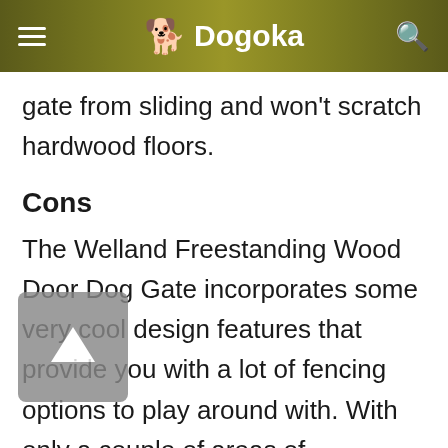Dogoka
gate from sliding and won't scratch hardwood floors.
Cons
The Welland Freestanding Wood Door Dog Gate incorporates some very cool design features that provide you with a lot of fencing options to play around with. With only a couple of areas of improvement to speak of, it's a winning pet barrier.